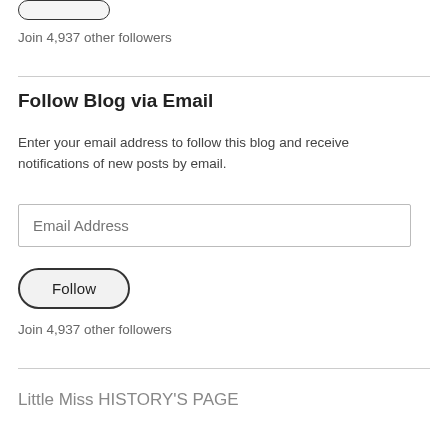[Figure (other): A rounded pill-shaped button (partially visible at top)]
Join 4,937 other followers
Follow Blog via Email
Enter your email address to follow this blog and receive notifications of new posts by email.
Email Address
[Figure (other): Follow button with rounded pill shape and dark border]
Join 4,937 other followers
Little Miss HISTORY'S PAGE